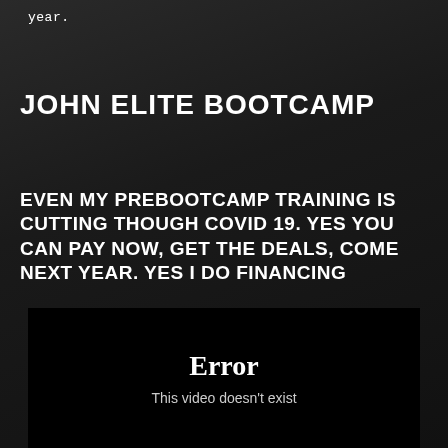year.
JOHN ELITE BOOTCAMP
EVEN MY PREBOOTCAMP TRAINING IS CUTTING THOUGH COVID 19. YES YOU CAN PAY NOW, GET THE DEALS, COME NEXT YEAR. YES I DO FINANCING
[Figure (screenshot): Embedded video player showing an error state with white text 'Error' and subtitle 'This video doesn't exist' on a black background.]